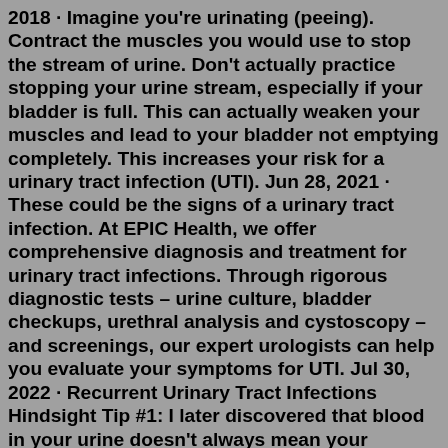2018 · Imagine you're urinating (peeing). Contract the muscles you would use to stop the stream of urine. Don't actually practice stopping your urine stream, especially if your bladder is full. This can actually weaken your muscles and lead to your bladder not emptying completely. This increases your risk for a urinary tract infection (UTI). Jun 28, 2021 · These could be the signs of a urinary tract infection. At EPIC Health, we offer comprehensive diagnosis and treatment for urinary tract infections. Through rigorous diagnostic tests – urine culture, bladder checkups, urethral analysis and cystoscopy – and screenings, our expert urologists can help you evaluate your symptoms for UTI. Jul 30, 2022 · Recurrent Urinary Tract Infections Hindsight Tip #1: I later discovered that blood in your urine doesn't always mean your kidneys are involved. For many people I've spoken with, that's just a typical symptom of a bladder infection. And no doctor I saw was ever concerned about my kidneys. For that reason colloidal silica is quite an effective bladder or urine...